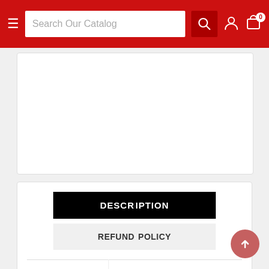[Figure (screenshot): Website header with red background, hamburger menu, search box labeled 'Search Our Catalog', search icon, user account icon, and shopping cart icon with badge showing 0]
[Figure (other): White card area, likely for product image, empty/blank]
DESCRIPTION
REFUND POLICY
| Set: | Magic Origins Clash Pack |
| Type: | Legendary Creature — Dragon |
| Rarity: | Rare |